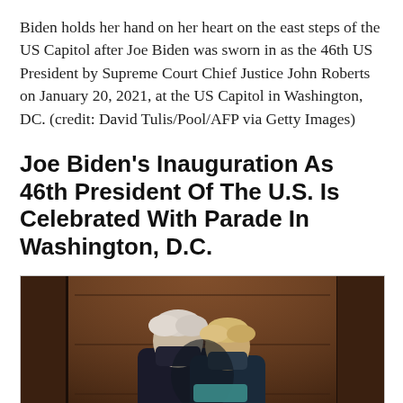Biden holds her hand on her heart on the east steps of the US Capitol after Joe Biden was sworn in as the 46th US President by Supreme Court Chief Justice John Roberts on January 20, 2021, at the US Capitol in Washington, DC. (credit: David Tulis/Pool/AFP via Getty Images)
Joe Biden's Inauguration As 46th President Of The U.S. Is Celebrated With Parade In Washington, D.C.
[Figure (photo): Two people wearing dark face masks embrace in front of large dark wooden doors. One person has white/grey hair and the other has blonde hair. The image appears to show Joe Biden and Jill Biden hugging.]